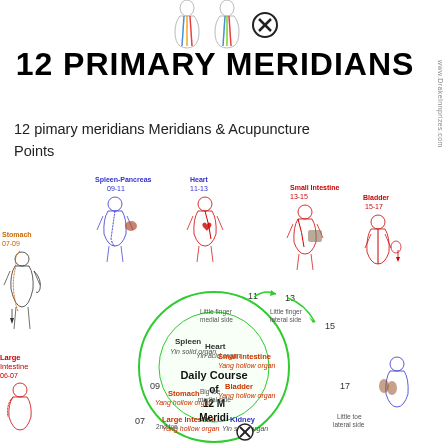[Figure (illustration): Top portion showing two stylized meridian body figures (one with colored lines, one plain) with an X symbol, representing primary meridians]
12 PRIMARY MERIDIANS
12 pimary meridians Meridians & Acupuncture Points
[Figure (infographic): Infographic showing the Daily Course of 12 Main Meridians as a circular wheel diagram, with 12 human body figures arranged around it showing acupuncture meridian paths. Labeled organs include: Spleen-Pancreas 09-11, Heart 11-13, Small Intestine 13-15, Bladder 15-17, Stomach 07-09, Large Intestine 06-07. The central wheel shows: Spleen (Yin solid organ), Heart (Yin acid organ), Small Intestine (Yang hollow organ), Bladder (Yang hollow organ), Kidney (Yin solid organ), Large Intestine (Yang hollow organ), Stomach (Yang hollow organ). Daily Course of 12 Main Meridians text in center.]
www.DrakeInnprizes.com